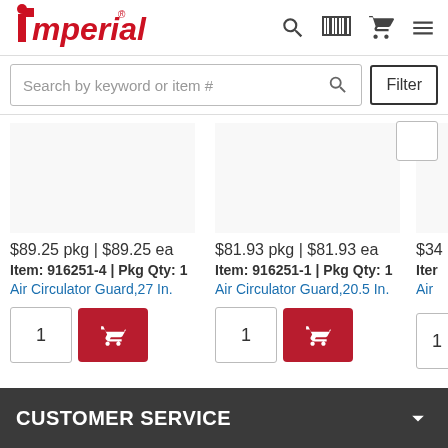[Figure (logo): Imperial brand logo in red with stylized I and registered trademark symbol]
Search by keyword or item #
Filter
$89.25 pkg | $89.25 ea
Item: 916251-4 | Pkg Qty: 1
Air Circulator Guard,27 In.
$81.93 pkg | $81.93 ea
Item: 916251-1 | Pkg Qty: 1
Air Circulator Guard,20.5 In.
$34
Item
Air
CUSTOMER SERVICE